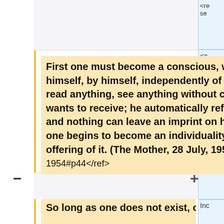<re se
<c
First one must become a conscious, well-knit, individualised being, who exists in himself, by himself, independently of all his surroundings, who can hear anything, read anything, see anything without changing. He receives from outside only what he wants to receive; he automatically refuses all that is not in conformity with his plan and nothing can leave an imprint on him unless he agrees to receive the imprint. Then one begins to become an individuality! When one is an individuality, one can make an offering of it. (The Mother, 28 July, 1954) <ref>http://incarnateword.in/cwm/06/28-july-1954#p44</ref>
So long as one does not exist, one can give
Inc